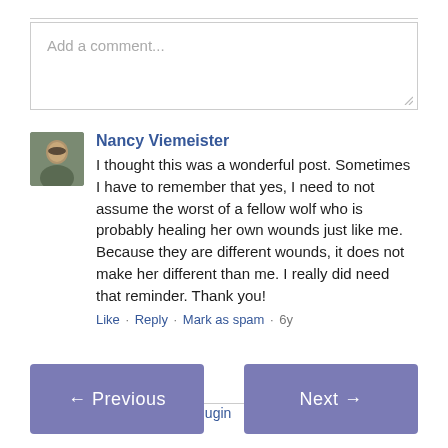[Figure (screenshot): Comment input textarea with placeholder text 'Add a comment...']
Nancy Viemeister
I thought this was a wonderful post. Sometimes I have to remember that yes, I need to not assume the worst of a fellow wolf who is probably healing her own wounds just like me. Because they are different wounds, it does not make her different than me. I really did need that reminder. Thank you!
Like · Reply · Mark as spam · 6y
Facebook Comments plugin
← Previous
Next →